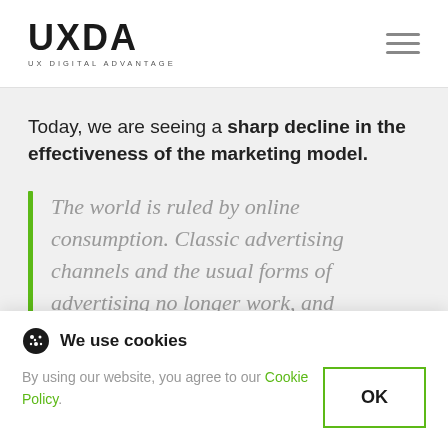UXDA UX DIGITAL ADVANTAGE
Today, we are seeing a sharp decline in the effectiveness of the marketing model.
The world is ruled by online consumption. Classic advertising channels and the usual forms of advertising no longer work, and [...]ction [...] ost [...] lead to
We use cookies
By using our website, you agree to our Cookie Policy.
OK